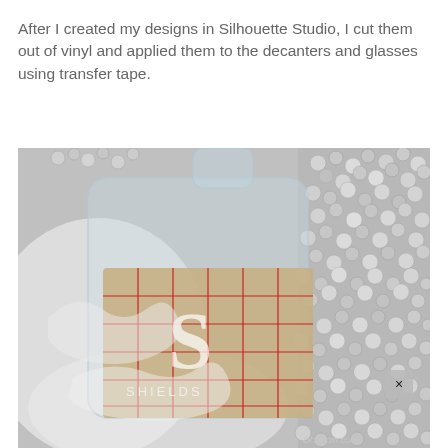After I created my designs in Silhouette Studio, I cut them out of vinyl and applied them to the decanters and glasses using transfer tape.
[Figure (photo): A glass decanter or jar lying on its side with a gridded transfer tape (tan/beige with red grid lines) applied to its surface, showing a white vinyl design underneath. The decanter is resting on white tissue/cloth. The background features silver metallic decorative beads or balls. A small X close button is visible in the lower right of the image. A watermark reading 'DIYMom.com' is in the bottom right corner.]